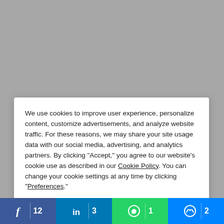Alex is a long-serving member and Fellow of the National Association of Estate Agents, a member of the Association of Residential Letting Agents, and holds a Diploma in Estate Agency...
We use cookies to improve user experience, personalize content, customize advertisements, and analyze website traffic. For these reasons, we may share your site usage data with our social media, advertising, and analytics partners. By clicking "Accept," you agree to our website's cookie use as described in our Cookie Policy. You can change your cookie settings at any time by clicking "Preferences."
Blog articles featuring Alex
View all